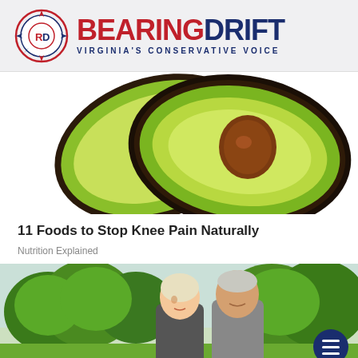BEARINGDRIFT — VIRGINIA'S CONSERVATIVE VOICE
[Figure (photo): Two halves of an avocado on white background showing bright green flesh and brown pit]
11 Foods to Stop Knee Pain Naturally
Nutrition Explained
[Figure (photo): An elderly couple smiling outdoors with green trees in background; hamburger menu button overlay in bottom right]